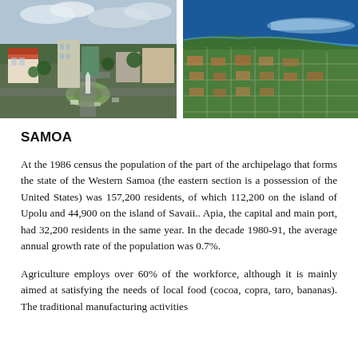[Figure (photo): Aerial view of Apia city center with roundabout, colonial-style buildings, and lush vegetation]
[Figure (photo): Aerial view of a Samoan coastal town with grid streets, dense vegetation, and blue ocean surrounding a peninsula]
SAMOA
At the 1986 census the population of the part of the archipelago that forms the state of the Western Samoa (the eastern section is a possession of the United States) was 157,200 residents, of which 112,200 on the island of Upolu and 44,900 on the island of Savaii.. Apia, the capital and main port, had 32,200 residents in the same year. In the decade 1980-91, the average annual growth rate of the population was 0.7%.
Agriculture employs over 60% of the workforce, although it is mainly aimed at satisfying the needs of local food (cocoa, copra, taro, bananas). The traditional manufacturing activities